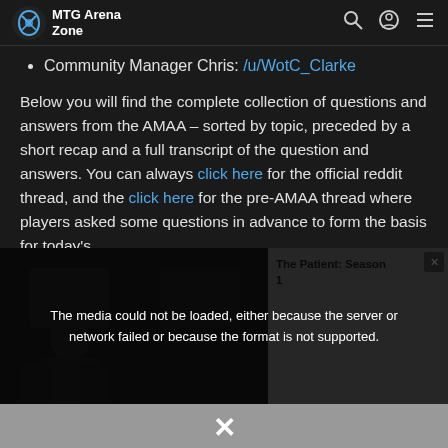MTG Arena Zone
Community Manager Chris: /u/WotC_Clarke
Below you will find the complete collection of questions and answers from the AMAA – sorted by topic, preceded by a short recap and a full transcript of the question and answers. You can always click here for the official reddit thread, and the click here for the pre-AMAA thread where players asked some questions in advance to form the basis for today's
[Figure (screenshot): Video player overlay showing error message: 'The media could not be loaded, either because the server or network failed or because the format is not supported.' Over a dark thumbnail image. A side panel shows 'The Patient: Season 1' text. A close X button is visible at the bottom.]